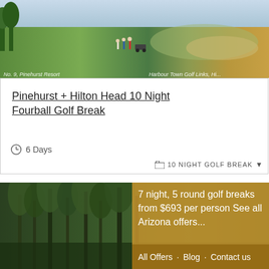[Figure (photo): Golf course aerial photo showing green fairways and marshland with text overlays 'No. 9, Pinehurst Resort' on left and 'Harbour Town Golf Links, Hi...' on right]
Pinehurst + Hilton Head 10 Night Fourball Golf Break
6 Days
10 NIGHT GOLF BREAK
[Figure (photo): Dense forest/tropical trees photo with golden orange overlay showing text: '7 night, 5 round golf breaks from $693 per person See all Arizona offers...' and bottom bar: 'All Offers · Blog · Contact us']